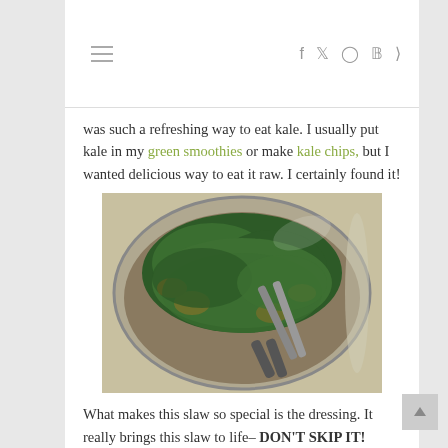☰  f  𝕥  ◎  𝕡  ⊳
was such a refreshing way to eat kale.  I usually put kale in my green smoothies or make kale chips, but I wanted delicious way to eat it raw.  I certainly found it!
[Figure (photo): Overhead photo of a large glass bowl containing kale slaw with carrots and other vegetables, with metal tongs resting in the bowl]
What makes this slaw so special is the dressing.  It really brings this slaw to life– DON'T SKIP IT!
The dressing recipe caught my eye because it does not use oil.  Love that!  It uses the natural oils in the nuts as an emulsifier.  I'm getting more and more into homemade salad